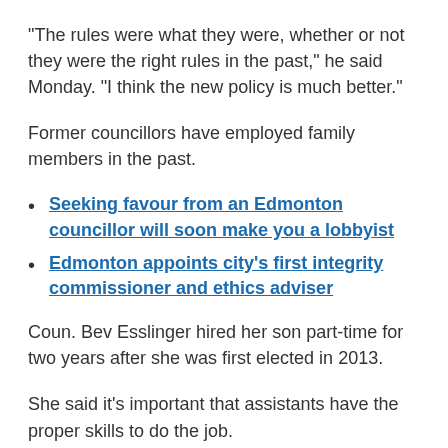"The rules were what they were, whether or not they were the right rules in the past," he said Monday. "I think the new policy is much better."
Former councillors have employed family members in the past.
Seeking favour from an Edmonton councillor will soon make you a lobbyist
Edmonton appoints city's first integrity commissioner and ethics adviser
Coun. Bev Esslinger hired her son part-time for two years after she was first elected in 2013.
She said it's important that assistants have the proper skills to do the job.